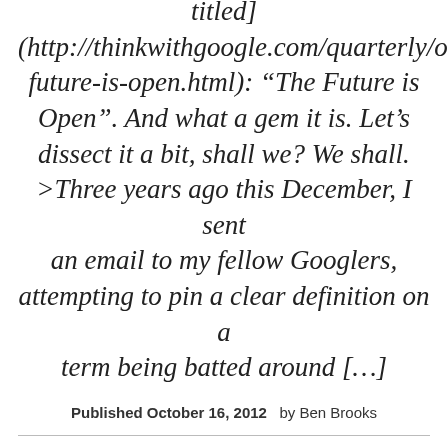titled] (http://thinkwithgoogle.com/quarterly/o future-is-open.html): “The Future is Open”. And what a gem it is. Let’s dissect it a bit, shall we? We shall. >Three years ago this December, I sent an email to my fellow Googlers, attempting to pin a clear definition on a term being batted around […]
Published October 16, 2012   by Ben Brooks
[Google’s Jonathan Rosenberg pens a post in